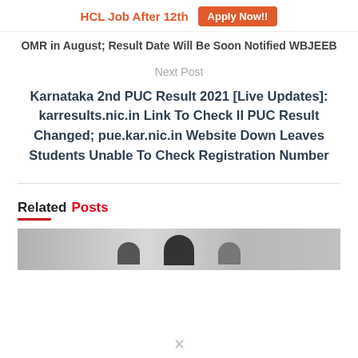HCL Job After 12th  Apply Now!!
OMR in August; Result Date Will Be Soon Notified WBJEEB
Next Post
Karnataka 2nd PUC Result 2021 [Live Updates]: karresults.nic.in Link To Check II PUC Result Changed; pue.kar.nic.in Website Down Leaves Students Unable To Check Registration Number
Related Posts
[Figure (photo): Black and white photo showing silhouettes of people, likely students]